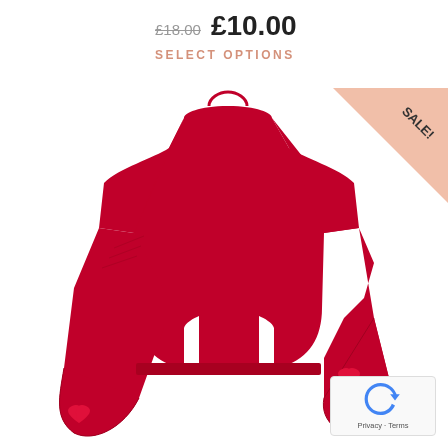£18.00  £10.00
SELECT OPTIONS
[Figure (photo): Red knit sweater with flared bell sleeves and bow detail at cuffs, displayed on an invisible mannequin against a white background. A pink triangular SALE! badge appears in the upper right corner of the product image.]
[Figure (other): Google reCAPTCHA badge with blue circular arrow icon, showing Privacy and Terms links]